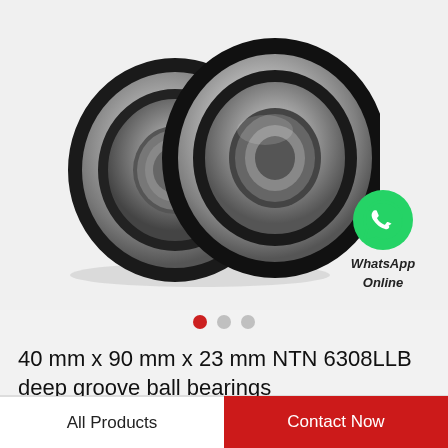[Figure (photo): Two NTN 6308LLB deep groove ball bearings with rubber seals, shown side by side at an angle, stainless steel with black rubber seals]
[Figure (logo): WhatsApp green phone icon with text 'WhatsApp Online' below]
40 mm x 90 mm x 23 mm NTN 6308LLB deep groove ball bearings
All Products   Contact Now